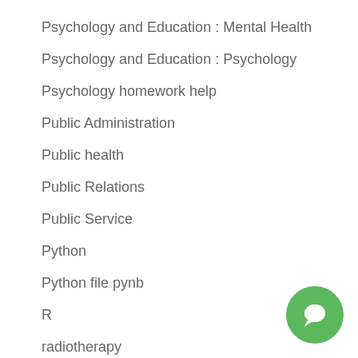Psychology and Education : Mental Health
Psychology and Education : Psychology
Psychology homework help
Public Administration
Public health
Public Relations
Public Service
Python
Python file pynb
R
radiotherapy
Reading homework help
Real Estate
Religion
Religion / Theology : Religion
[Figure (illustration): Green circular chat button with speech bubble icon in bottom right corner]